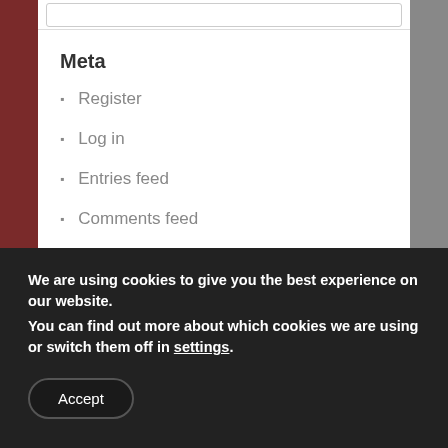Meta
Register
Log in
Entries feed
Comments feed
WordPress.org
We are using cookies to give you the best experience on our website.
You can find out more about which cookies we are using or switch them off in settings.
Accept